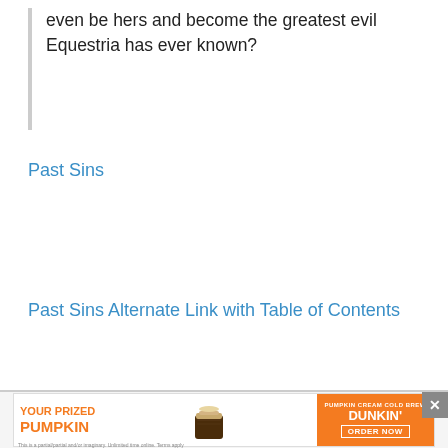even be hers and become the greatest evil Equestria has ever known?
Past Sins
Past Sins Alternate Link with Table of Contents
[Figure (other): Dunkin' advertisement banner: 'Your Prized Pumpkin' with Pumpkin Cream Cold Brew promotional image and 'Order Now' button]